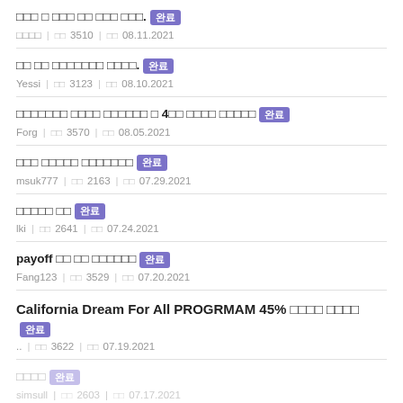□□□ □ □□□ □□ □□□ □□□. 완료 | □□□□ | 조회 3510 | 날짜 08.11.2021
□□ □□ □□□□□□□ □□□□. 완료 | Yessi | 조회 3123 | 날짜 08.10.2021
□□□□□□□ □□□□ □□□□□□ □ 4□□ □□□□ □□□□□ 완료 | Forg | 조회 3570 | 날짜 08.05.2021
□□□ □□□□□ □□□□□□□ 완료 | msuk777 | 조회 2163 | 날짜 07.29.2021
□□□□□ □□ 완료 | lki | 조회 2641 | 날짜 07.24.2021
payoff □□ □□ □□□□□□ 완료 | Fang123 | 조회 3529 | 날짜 07.20.2021
California Dream For All PROGRMAM 45% □□□□ □□□□ 완료 | .. | 조회 3622 | 날짜 07.19.2021
□□□□ 완료 | simsull | 조회 2603 | 날짜 07.17.2021